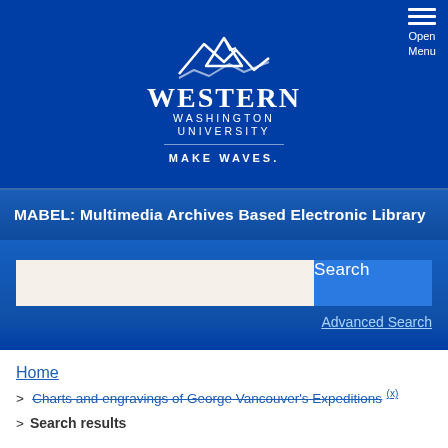[Figure (logo): Western Washington University logo with mountain/wave graphic, text WESTERN WASHINGTON UNIVERSITY, MAKE WAVES., Open Menu hamburger button top-right]
MABEL: Multimedia Archives Based Electronic Library
Search (input) | Search button | Advanced Search
Home
> Charts and engravings of George Vancouver's Expeditions (x)
> Search results